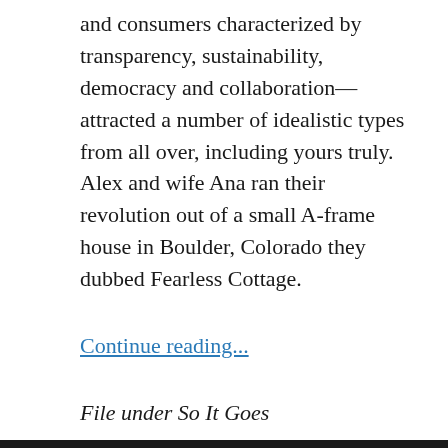and consumers characterized by transparency, sustainability, democracy and collaboration—attracted a number of idealistic types from all over, including yours truly. Alex and wife Ana ran their revolution out of a small A-frame house in Boulder, Colorado they dubbed Fearless Cottage.
Continue reading...
File under So It Goes
WATCH THE TURKEY SHOOT TRAILER